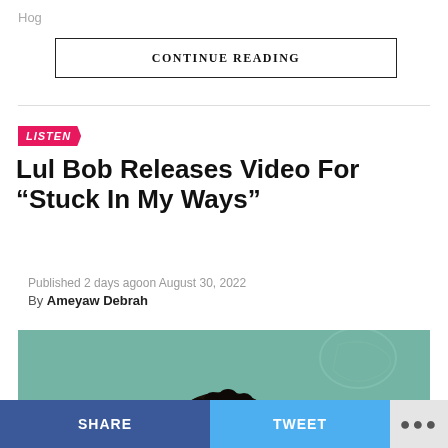Hog
CONTINUE READING
LISTEN
Lul Bob Releases Video For “Stuck In My Ways”
Published 2 days agoon August 30, 2022
By Ameyaw Debrah
[Figure (photo): A person with curly black hair photographed from above against a teal/green textured wall background with faint graffiti.]
SHARE
TWEET